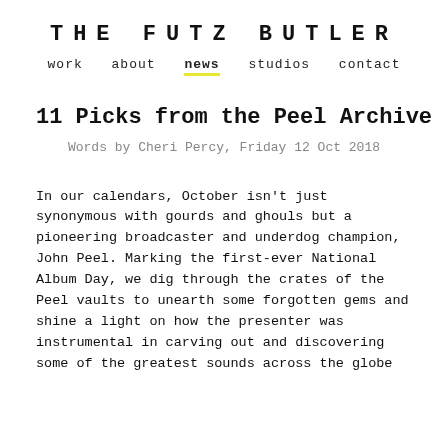THE FUTZ BUTLER
work   about   news   studios   contact
11 Picks from the Peel Archive
Words by Cheri Percy, Friday 12 Oct 2018
In our calendars, October isn't just synonymous with gourds and ghouls but a pioneering broadcaster and underdog champion, John Peel. Marking the first-ever National Album Day, we dig through the crates of the Peel vaults to unearth some forgotten gems and shine a light on how the presenter was instrumental in carving out and discovering some of the greatest sounds across the globe